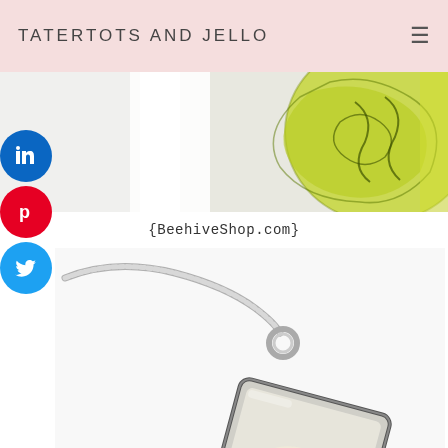TATERTOTS AND JELLO
[Figure (photo): Partial view of a decorative green and yellow floral/damask patterned vase or jar on a white background]
[Figure (photo): Social media share buttons: LinkedIn (blue), Pinterest (red), Twitter (light blue) as circular icons on left side]
{BeehiveShop.com}
[Figure (photo): A square glass pendant necklace with a flower (orchid) photo inside, hanging on a silver snake chain, on a white background]